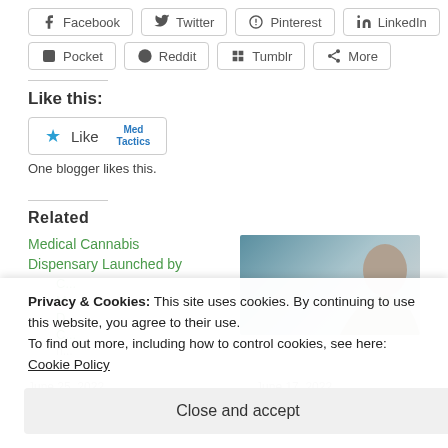Facebook  Twitter  Pinterest  LinkedIn
Pocket  Reddit  Tumblr  More
Like this:
Like | Med Tactics
One blogger likes this.
Related
Medical Cannabis Dispensary Launched by
[Figure (photo): Person photo thumbnail for related article]
June 25, 2022  June 17, 2022
In "Regional News"
Privacy & Cookies: This site uses cookies. By continuing to use this website, you agree to their use. To find out more, including how to control cookies, see here: Cookie Policy
Close and accept